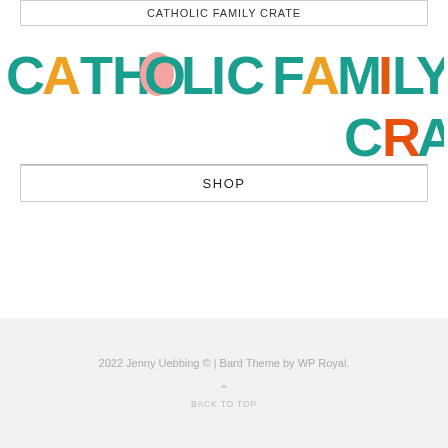CATHOLIC FAMILY CRATE
[Figure (logo): Catholic Family Crate logo in colorful bold chunky letters: teal, with accent letters in orange, salmon/pink, and orange-red]
SHOP
2022 Jenny Uebbing © | Bard Theme by WP Royal.